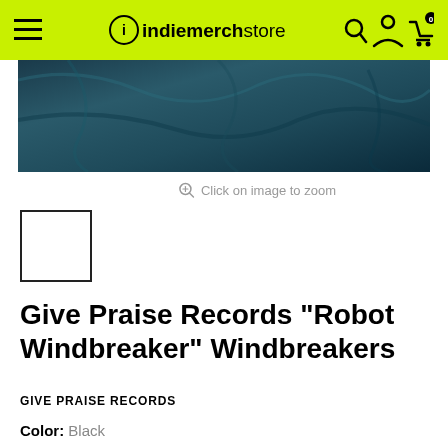indiemerchstore
[Figure (photo): Close-up photo of a dark teal/blue crumpled windbreaker jacket fabric]
Click on image to zoom
[Figure (photo): Small thumbnail of the windbreaker product]
Give Praise Records "Robot Windbreaker" Windbreakers
GIVE PRAISE RECORDS
Color: Black